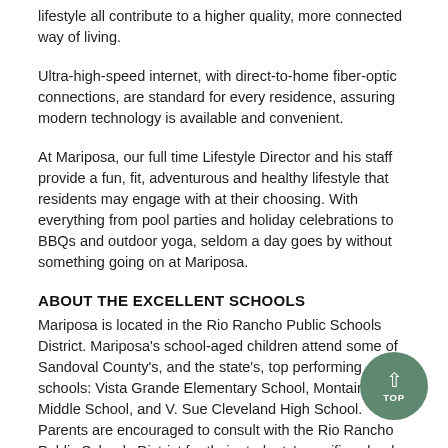lifestyle all contribute to a higher quality, more connected way of living.
Ultra-high-speed internet, with direct-to-home fiber-optic connections, are standard for every residence, assuring modern technology is available and convenient.
At Mariposa, our full time Lifestyle Director and his staff provide a fun, fit, adventurous and healthy lifestyle that residents may engage with at their choosing. With everything from pool parties and holiday celebrations to BBQs and outdoor yoga, seldom a day goes by without something going on at Mariposa.
ABOUT THE EXCELLENT SCHOOLS
Mariposa is located in the Rio Rancho Public Schools District. Mariposa's school-aged children attend some of Sandoval County's, and the state's, top performing schools: Vista Grande Elementary School, Mountain View Middle School, and V. Sue Cleveland High School. Parents are encouraged to consult with the Rio Rancho Public Schools District for their students' specific school assignments as zoning is subject to change by the